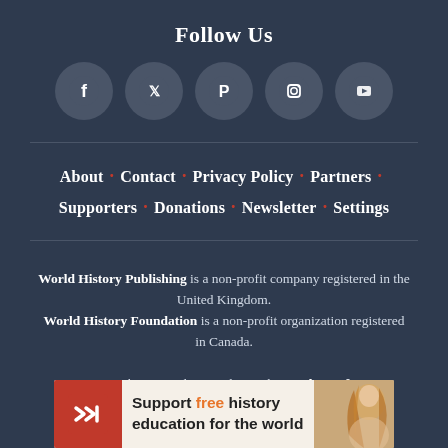Follow Us
[Figure (illustration): Five social media icons in circular buttons: Facebook, Twitter, Pinterest, Instagram, YouTube]
About · Contact · Privacy Policy · Partners · Supporters · Donations · Newsletter · Settings
World History Publishing is a non-profit company registered in the United Kingdom. World History Foundation is a non-profit organization registered in Canada. We care about our planet and contribute a share of our revenue to carbon removal from the atmosphere. Some ... Commons Att... ss
[Figure (infographic): Advertisement banner: red box with arrow logo, text 'Support free history education for the world', and partial image of a classical painting (Birth of Venus)]